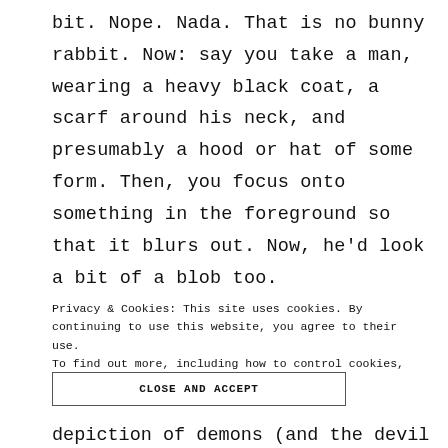bit. Nope. Nada. That is no bunny rabbit. Now: say you take a man, wearing a heavy black coat, a scarf around his neck, and presumably a hood or hat of some form. Then, you focus onto something in the foreground so that it blurs out. Now, he'd look a bit of a blob too.
Privacy & Cookies: This site uses cookies. By continuing to use this website, you agree to their use.
To find out more, including how to control cookies, see here: Cookie Policy
CLOSE AND ACCEPT
depiction of demons (and the devil